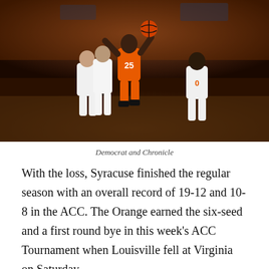[Figure (photo): Basketball player wearing Syracuse orange jersey number 25 jumping to shoot over defenders in white uniforms during a basketball game with a crowd in the background.]
Democrat and Chronicle
With the loss, Syracuse finished the regular season with an overall record of 19-12 and 10-8 in the ACC. The Orange earned the six-seed and a first round bye in this week's ACC Tournament when Louisville fell at Virginia on Saturday.